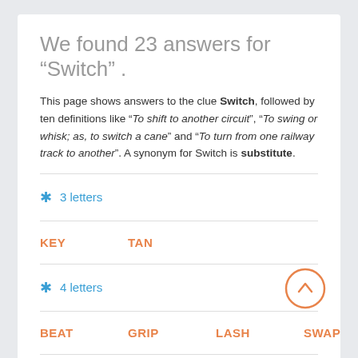We found 23 answers for “Switch” .
This page shows answers to the clue Switch, followed by ten definitions like “To shift to another circuit”, “To swing or whisk; as, to switch a cane” and “To turn from one railway track to another”. A synonym for Switch is substitute.
3 letters
KEY
TAN
4 letters
BEAT
GRIP
LASH
SWAP
5 letters